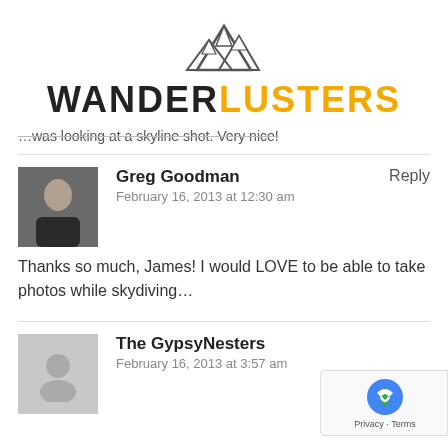[Figure (logo): Wanderlusters logo with mountain peaks icon above the text WANDER in dark and LUSTERS in gold/yellow]
…was looking at a skyline shot. Very nice!
Greg Goodman
February 16, 2013 at 12:30 am
Reply
Thanks so much, James! I would LOVE to be able to take photos while skydiving…
The GypsyNesters
February 16, 2013 at 3:57 am